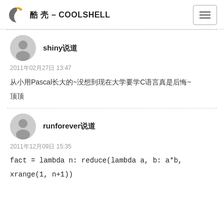酷 壳 – COOLSHELL
shiny说道
2011年02月27日 13:47
从小用Pascal长大的~没想到现在大学要学C语言真是后悔~
顶顶
runforever说道
2011年12月09日 15:35
fact = lambda n: reduce(lambda a, b: a*b, xrange(1, n+1))